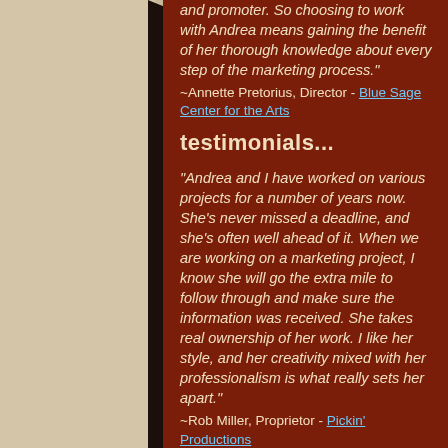Andrea means gaining the benefit of her thorough knowledge about every step of the marketing process."
~Annette Pretorius, Director - Blue Sage Center for the Arts
testimonials...
"Andrea and I have worked on various projects for a number of years now. She's never missed a deadline, and she's often well ahead of it.  When we are working on a marketing project, I know she will go the extra mile to follow through and make sure the information was received.  She takes real ownership of her work.  I like her style, and her creativity mixed with her professionalism is what really sets her apart."
~Rob Miller, Proprietor - Pickin' Productions
"Andrea is very talented, in so many arenas!  She has designed beautiful posters and t-shirts for the Mountain